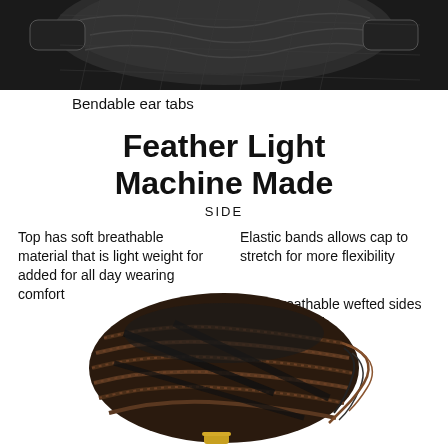[Figure (photo): Close-up photo of a dark/black wig cap top showing bendable ear tabs construction]
Bendable ear tabs
Feather Light Machine Made
SIDE
Top has soft breathable material that is light weight for added for all day wearing comfort
Elastic bands allows cap to stretch for more flexibility
Breathable wefted sides and back
[Figure (photo): Photo of the side view of a dark brown/black machine-made wig cap showing wefted construction, elastic bands, and wefted sides and back]